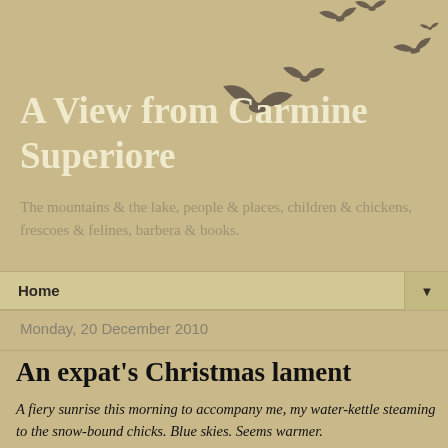A View from Carmine Superiore
The mountains & the lake, people & places, children & chickens, frescoes & felines, barbera & books.
Home ▼
Monday, 20 December 2010
An expat's Christmas lament
A fiery sunrise this morning to accompany me, my water-kettle steaming to the snow-bound chicks. Blue skies. Seems warmer.
Christmas is coming (as if you didn't know), and we're awash with candles, cards and Christmas trees. Every expat